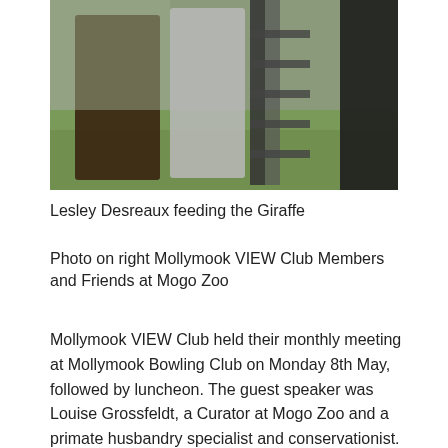[Figure (photo): Photo of people feeding a giraffe at Mogo Zoo, showing two figures near a metal staircase structure with grassy background]
Lesley Desreaux feeding the Giraffe
Photo on right Mollymook VIEW Club Members and Friends at Mogo Zoo
Mollymook VIEW Club held their monthly meeting at Mollymook Bowling Club on Monday 8th May, followed by luncheon. The guest speaker was Louise Grossfeldt, a Curator at Mogo Zoo and a primate husbandry specialist and conservationist. Louise spoke about the diverse program conducted at Mogo Zoo, 10 km south of Batemans Bay, and her prior experience at Taronga Zoo